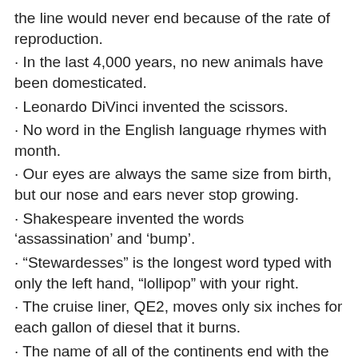the line would never end because of the rate of reproduction.
· In the last 4,000 years, no new animals have been domesticated.
· Leonardo DiVinci invented the scissors.
· No word in the English language rhymes with month.
· Our eyes are always the same size from birth, but our nose and ears never stop growing.
· Shakespeare invented the words 'assassination' and 'bump'.
· "Stewardesses" is the longest word typed with only the left hand, "lollipop" with your right.
· The cruise liner, QE2, moves only six inches for each gallon of diesel that it burns.
· The name of all of the continents end with the same letter that they start with.